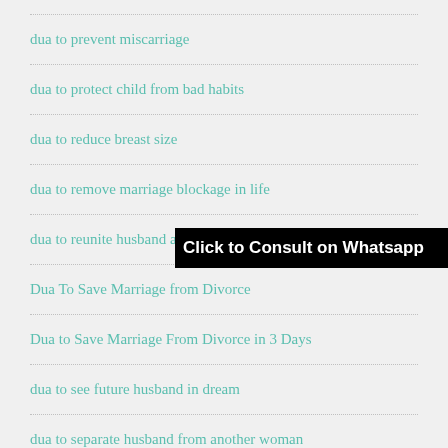dua to prevent miscarriage
dua to protect child from bad habits
dua to reduce breast size
dua to remove marriage blockage in life
dua to reunite husband and wife
Dua To Save Marriage from Divorce
Dua to Save Marriage From Divorce in 3 Days
dua to see future husband in dream
dua to separate husband from another woman
dua to separate husband from his parents